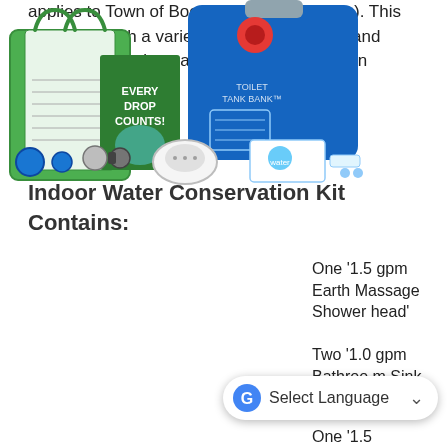applies to Town of Boone Water Customers). This kit is filled with a variety of water facts, tips and tools to help bolster an at-home conservation program.
Indoor Water Conservation Kit Contains:
[Figure (photo): Photo of an indoor water conservation kit containing a green reusable bag, a blue water bag (toilet tank bank), educational brochures including one labeled 'EVERY DROP COUNTS!', multiple faucet aerators, a white showerhead, and a small booklet with a water droplet logo.]
One '1.5 gpm Earth Massage Shower head'
Two '1.0 gpm Bathroom Sink'
One '1.5
[Figure (screenshot): Google Translate 'Select Language' dropdown bar overlay at the bottom of the page.]